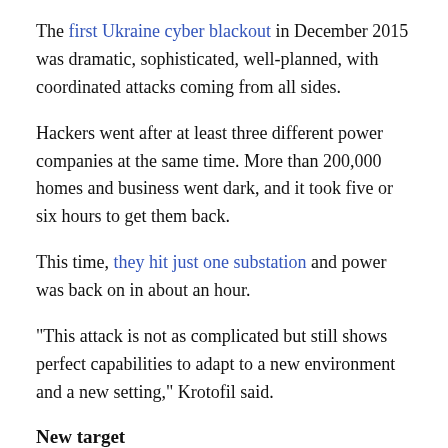The first Ukraine cyber blackout in December 2015 was dramatic, sophisticated, well-planned, with coordinated attacks coming from all sides.
Hackers went after at least three different power companies at the same time. More than 200,000 homes and business went dark, and it took five or six hours to get them back.
This time, they hit just one substation and power was back on in about an hour.
“This attack is not as complicated but still shows perfect capabilities to adapt to a new environment and a new setting,” Krotofil said.
New target
The new target, the Pivnichna or “North” substation in the Kiev area, uses slightly different software and hardware, according to Krotofil.
“You have to perform recon and you have to have enough knowledge and